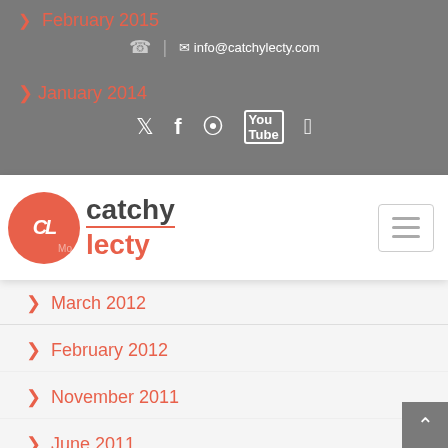info@catchylecty.com
[Figure (logo): CatchyLecty logo with orange circle CL monogram and catchy/lecty text]
February 2015
January 2014
March 2012
February 2012
November 2011
June 2011
April 2011
March 2011
February 2011